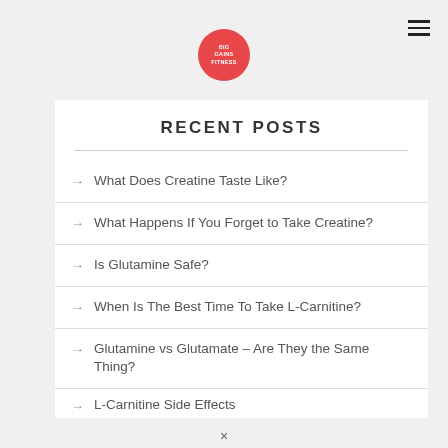BIG GAINS FITNESS [logo]
RECENT POSTS
What Does Creatine Taste Like?
What Happens If You Forget to Take Creatine?
Is Glutamine Safe?
When Is The Best Time To Take L-Carnitine?
Glutamine vs Glutamate – Are They the Same Thing?
L-Carnitine Side Effects